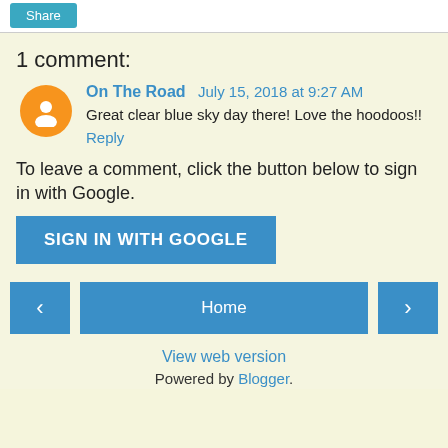Share
1 comment:
On The Road  July 15, 2018 at 9:27 AM
Great clear blue sky day there! Love the hoodoos!!
Reply
To leave a comment, click the button below to sign in with Google.
SIGN IN WITH GOOGLE
< Home > View web version Powered by Blogger.